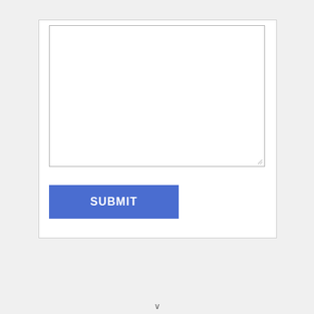[Figure (screenshot): A web form UI element showing a large empty textarea with a resize handle at the bottom-right corner, and below it a blue 'SUBMIT' button. The form is contained within a white card on a light gray background.]
SUBMIT